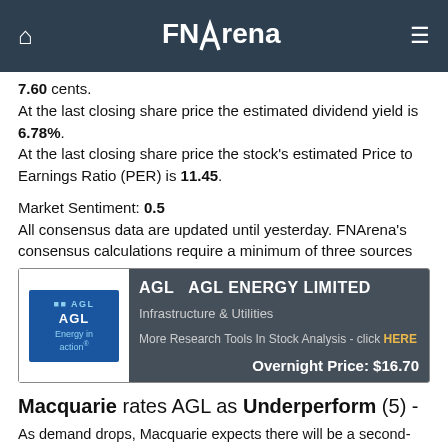FNArena
7.60 cents.
At the last closing share price the estimated dividend yield is 6.78%.
At the last closing share price the stock's estimated Price to Earnings Ratio (PER) is 11.45.
Market Sentiment: 0.5
All consensus data are updated until yesterday. FNArena's consensus calculations require a minimum of three sources
[Figure (logo): AGL Energy in action logo banner with company name AGL AGL ENERGY LIMITED, sector Infrastructure & Utilities, research tools link, Overnight Price: $16.70]
Macquarie rates AGL as Underperform (5) -
As demand drops, Macquarie expects there will be a second-order impact on AGL Energy earnings, principally in FY21. There is also likely to be some earnings pressure from bad debts through the cycle.